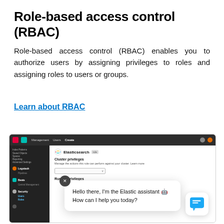Role-based access control (RBAC)
Role-based access control (RBAC) enables you to authorize users by assigning privileges to roles and assigning roles to users or groups.
Learn about RBAC
[Figure (screenshot): Screenshot of Kibana RBAC interface showing the Elasticsearch role creation page with Cluster privileges and Run As privileges sections, overlaid with an Elastic AI assistant chat bubble saying 'Hello there, I'm the Elastic assistant 🤖 How can I help you today?' and a chat icon button in the bottom right corner.]